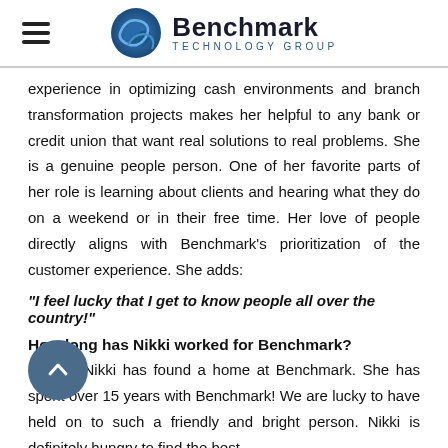Benchmark Technology Group
experience in optimizing cash environments and branch transformation projects makes her helpful to any bank or credit union that want real solutions to real problems. She is a genuine people person. One of her favorite parts of her role is learning about clients and hearing what they do on a weekend or in their free time. Her love of people directly aligns with Benchmark's prioritization of the customer experience. She adds:
"I feel lucky that I get to know people all over the country!"
How long has Nikki worked for Benchmark?
Luckily, Nikki has found a home at Benchmark. She has spent over 15 years with Benchmark! We are lucky to have held on to such a friendly and bright person. Nikki is definitely hungry to find the best